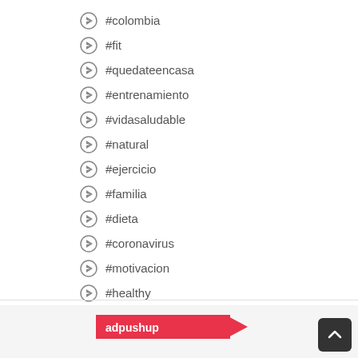#colombia
#fit
#quedateencasa
#entrenamiento
#vidasaludable
#natural
#ejercicio
#familia
#dieta
#coronavirus
#motivacion
#healthy
#mujer
[Figure (logo): adpushup logo — red banner with white text and arrow shape]
[Figure (other): Back to top button — dark rounded square with upward chevron]